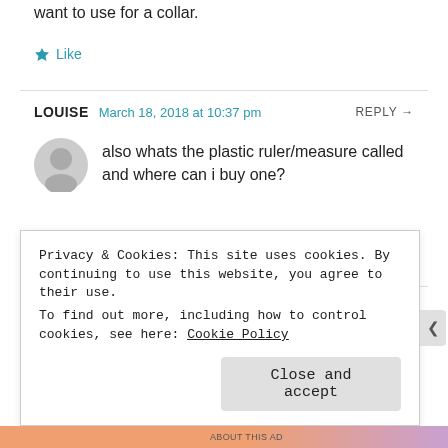want to use for a collar.
Like
LOUISE  March 18, 2018 at 10:37 pm  REPLY →
also whats the plastic ruler/measure called and where can i buy one?
Like
Privacy & Cookies: This site uses cookies. By continuing to use this website, you agree to their use.
To find out more, including how to control cookies, see here: Cookie Policy
Close and accept